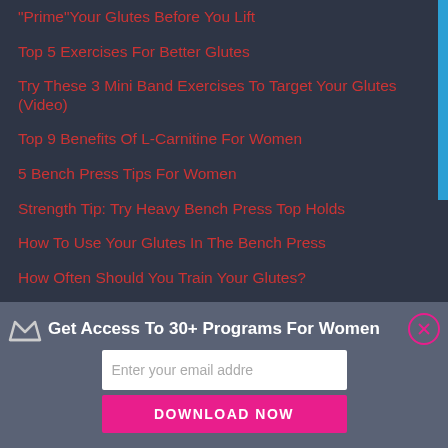"Prime"Your Glutes Before You Lift
Top 5 Exercises For Better Glutes
Try These 3 Mini Band Exercises To Target Your Glutes (Video)
Top 9 Benefits Of L-Carnitine For Women
5 Bench Press Tips For Women
Strength Tip: Try Heavy Bench Press Top Holds
How To Use Your Glutes In The Bench Press
How Often Should You Train Your Glutes?
Shares
Get Access To 30+ Programs For Women
Enter your email addre
DOWNLOAD NOW